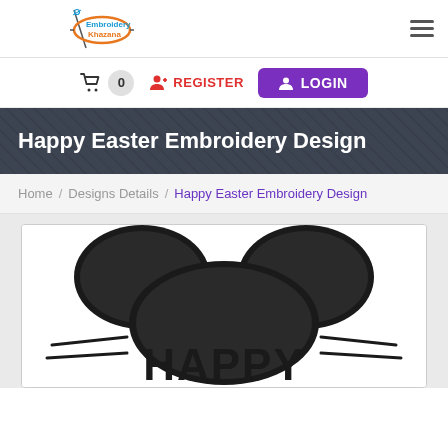Embroidery Khazana
0  REGISTER  LOGIN
Happy Easter Embroidery Design
Home / Designs Details / Happy Easter Embroidery Design
[Figure (photo): Embroidery design showing Mickey Mouse ears silhouette with the word HAPPY below, in black thread on white fabric]